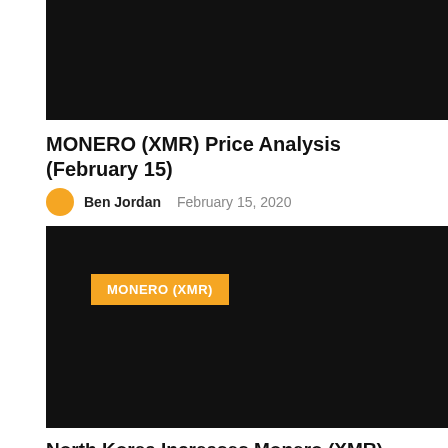[Figure (photo): Dark/black image placeholder at top of page]
MONERO (XMR) Price Analysis (February 15)
Ben Jordan   February 15, 2020
[Figure (photo): Dark/black image with orange MONERO (XMR) badge label overlay]
North Korea Increases Monero (XMR) Mining Efforts To Help Avoid Sanctions
Oana Ularu   February 13, 2020